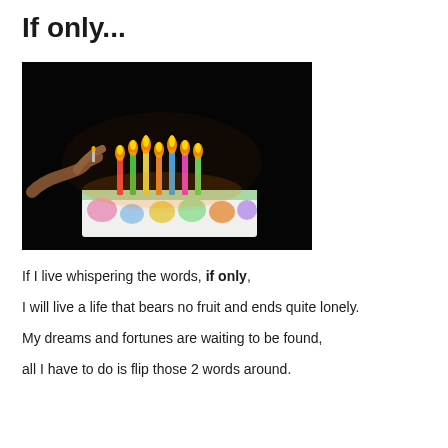If only...
[Figure (photo): A dark photo of a birthday cake with colorful lit candles. A hand is lighting one of the candles with a match or lighter. The cake has colorful frosting decorations and multiple tall candles with flames glowing orange against a black background.]
If I live whispering the words, if only,

I will live a life that bears no fruit and ends quite lonely.

My dreams and fortunes are waiting to be found,

all I have to do is flip those 2 words around.